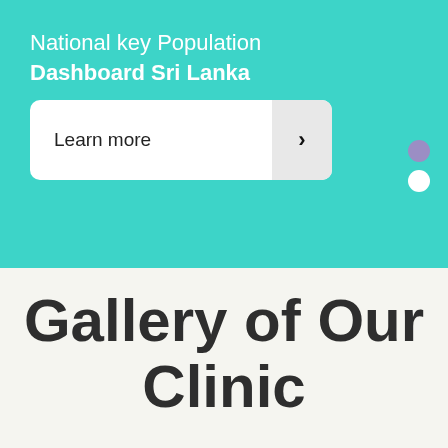National key Population Dashboard Sri Lanka
Learn more ›
Gallery of Our Clinic